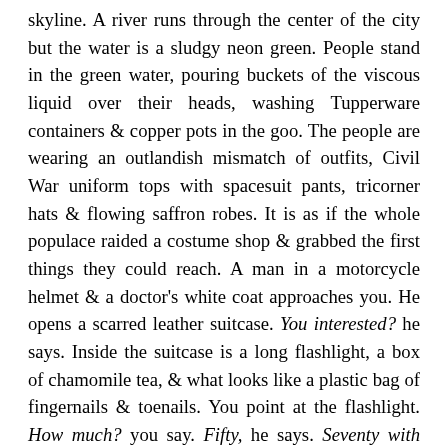skyline. A river runs through the center of the city but the water is a sludgy neon green. People stand in the green water, pouring buckets of the viscous liquid over their heads, washing Tupperware containers & copper pots in the goo. The people are wearing an outlandish mismatch of outfits, Civil War uniform tops with spacesuit pants, tricorner hats & flowing saffron robes. It is as if the whole populace raided a costume shop & grabbed the first things they could reach. A man in a motorcycle helmet & a doctor's white coat approaches you. He opens a scarred leather suitcase. You interested? he says. Inside the suitcase is a long flashlight, a box of chamomile tea, & what looks like a plastic bag of fingernails & toenails. You point at the flashlight. How much? you say. Fifty, he says. Seventy with batteries. You pull your wallet out & hand him seventy dollars. Not dollars, he says, dollars are worthless. Seventy of these. He reaches a hand into the pocket of his white coat & removes a handful of black beetles as large as his thumb. The beetles crawl around his palm